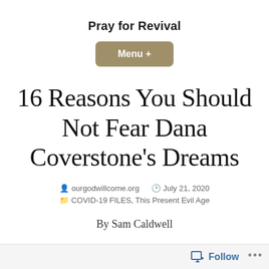Pray for Revival
[Figure (other): Menu button with tan/khaki background color reading 'Menu +']
16 Reasons You Should Not Fear Dana Coverstone's Dreams
ourgodwillcome.org   July 21, 2020
COVID-19 FILES, This Present Evil Age
By Sam Caldwell
Follow ...